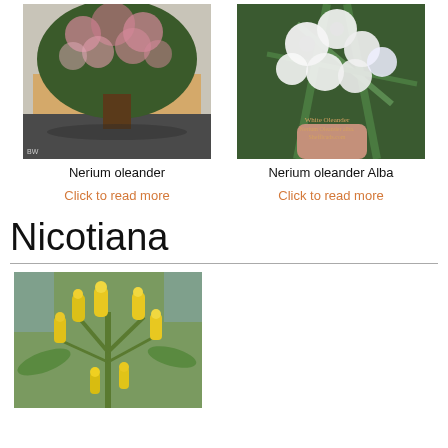[Figure (photo): Photo of Nerium oleander plant with pink flowers, large shrub/tree in an outdoor plaza setting]
Nerium oleander
Click to read more
[Figure (photo): Close-up photo of white Nerium oleander Alba flowers with green leaves, watermark reading 'White Oleander Nerium Oleander alba, Sheflleads.com']
Nerium oleander Alba
Click to read more
Nicotiana
[Figure (photo): Close-up photo of yellow Nicotiana flowers with tubular yellow blooms and green stems]